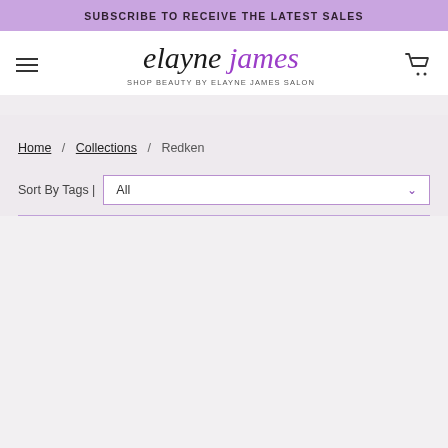SUBSCRIBE TO RECEIVE THE LATEST SALES
[Figure (logo): Elayne James salon brand logo with italic serif text: 'elayne' in dark color and 'james' in purple, with tagline 'SHOP BEAUTY BY ELAYNE JAMES SALON']
Home / Collections / Redken
Sort By Tags | All